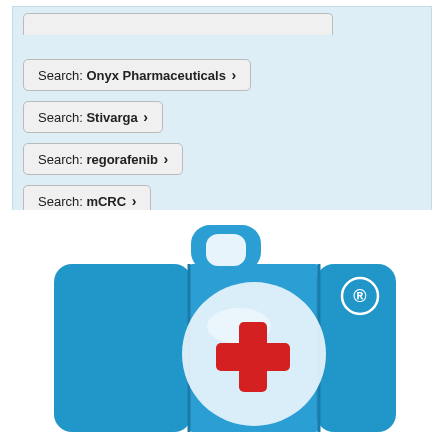Search: Onyx Pharmaceuticals ›
Search: Stivarga ›
Search: regorafenib ›
Search: mCRC ›
Healthcare Industry NewsFeed ▶▶
[Figure (logo): Blue medical kit / first aid suitcase logo with red cross symbol and registered trademark symbol]